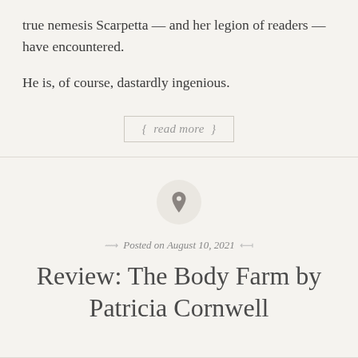true nemesis Scarpetta — and her legion of readers — have encountered.
He is, of course, dastardly ingenious.
{ read more }
Posted on August 10, 2021
Review: The Body Farm by Patricia Cornwell